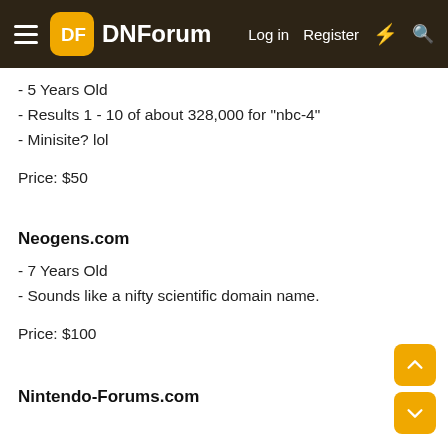DNForum — Log in  Register
- 5 Years Old
- Results 1 - 10 of about 328,000 for "nbc-4"
- Minisite? lol
Price: $50
Neogens.com
- 7 Years Old
- Sounds like a nifty scientific domain name.
Price: $100
Nintendo-Forums.com